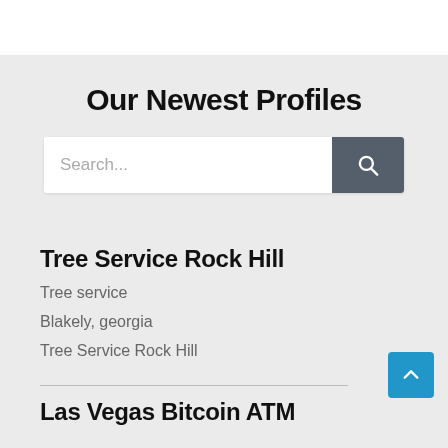Our Newest Profiles
[Figure (screenshot): Search bar with text placeholder 'Search...' and a dark grey search button with magnifying glass icon]
Tree Service Rock Hill
Tree service
Blakely, georgia
Tree Service Rock Hill
Las Vegas Bitcoin ATM